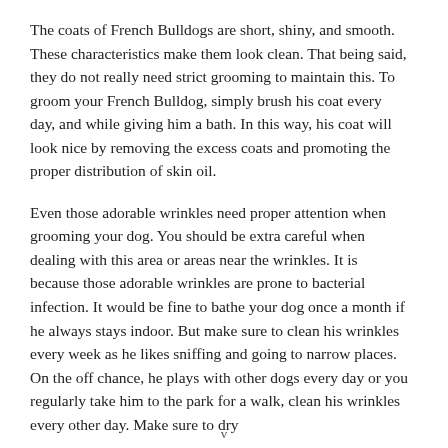The coats of French Bulldogs are short, shiny, and smooth. These characteristics make them look clean. That being said, they do not really need strict grooming to maintain this. To groom your French Bulldog, simply brush his coat every day, and while giving him a bath. In this way, his coat will look nice by removing the excess coats and promoting the proper distribution of skin oil.
Even those adorable wrinkles need proper attention when grooming your dog. You should be extra careful when dealing with this area or areas near the wrinkles. It is because those adorable wrinkles are prone to bacterial infection. It would be fine to bathe your dog once a month if he always stays indoor. But make sure to clean his wrinkles every week as he likes sniffing and going to narrow places. On the off chance, he plays with other dogs every day or you regularly take him to the park for a walk, clean his wrinkles every other day. Make sure to dry
v